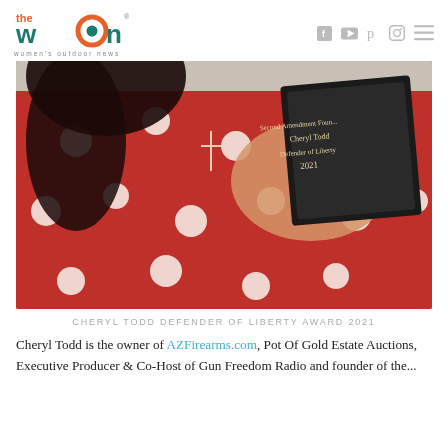the WOn - women's outdoor news
[Figure (photo): Woman in red polka dot dress holding a black award plaque that reads 'Second Amendment Foundation, Cheryl Todd, Defender of Liberty, 2021']
CHERYL TODD DEFENDER OF LIBERTY AWARD 2021
Cheryl Todd is the owner of AZFirearms.com, Pot Of Gold Estate Auctions, Executive Producer & Co-Host of Gun Freedom Radio and founder of the...